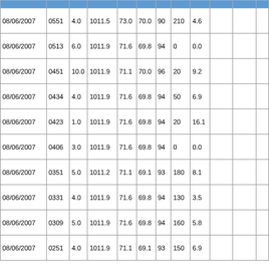|  |  |  |  |  |  |  |  |  |  |  |  |
| --- | --- | --- | --- | --- | --- | --- | --- | --- | --- | --- | --- |
| 08/06/2007 | 0551 | 4.0 | 1011.5 | 73.0 | 70.0 | 90 | 210 | 4.6 |  |  |  |
| 08/06/2007 | 0513 | 6.0 | 1011.9 | 71.6 | 69.8 | 94 | 0 | 0.0 |  |  |  |
| 08/06/2007 | 0451 | 10.0 | 1011.9 | 71.1 | 70.0 | 96 | 20 | 9.2 |  |  |  |
| 08/06/2007 | 0434 | 4.0 | 1011.9 | 71.6 | 69.8 | 94 | 50 | 6.9 |  |  |  |
| 08/06/2007 | 0423 | 1.0 | 1011.9 | 71.6 | 69.8 | 94 | 20 | 16.1 |  |  |  |
| 08/06/2007 | 0406 | 3.0 | 1011.9 | 71.6 | 69.8 | 94 | 0 | 0.0 |  |  |  |
| 08/06/2007 | 0351 | 5.0 | 1011.2 | 71.1 | 69.1 | 93 | 180 | 8.1 |  |  |  |
| 08/06/2007 | 0331 | 4.0 | 1011.9 | 71.6 | 69.8 | 94 | 130 | 3.5 |  |  |  |
| 08/06/2007 | 0309 | 5.0 | 1011.9 | 71.6 | 69.8 | 94 | 160 | 5.8 |  |  |  |
| 08/06/2007 | 0251 | 4.0 | 1011.9 | 71.1 | 69.1 | 93 | 150 | 6.9 |  |  |  |